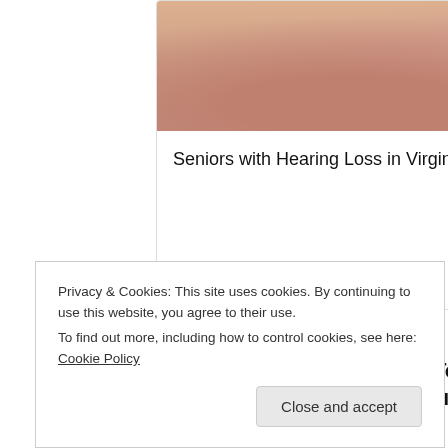[Figure (photo): Partial view of a carousel card showing a close-up photo of fingers/skin texture, card titled 'Seniors with Hearing Loss in Virginia Regret Not Knowing This Sooner']
Seniors with Hearing Loss in Virginia Regret Not Knowing This Sooner
[Figure (photo): Partial view of a second carousel card showing a sandy/textured surface, card titled 'Powerful... Crushing...' (text cut off)]
Powerful Crushing
[Figure (other): Carousel pagination dots: first dot filled/active, second and third dots gray/inactive]
[Figure (photo): Photo of a blonde woman in a white outfit looking to the side, associated with Blinkist article]
The 5 Books To Read To Transform Your Life in 2022
Blinkist
Privacy & Cookies: This site uses cookies. By continuing to use this website, you agree to their use.
To find out more, including how to control cookies, see here: Cookie Policy
Close and accept